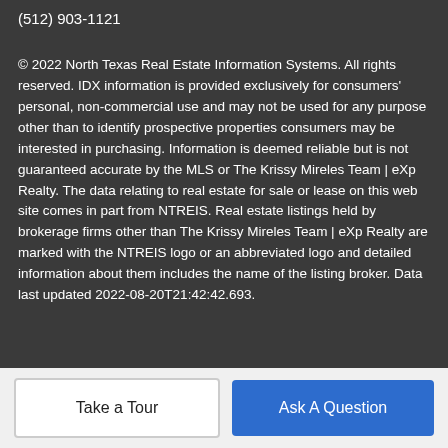Waxahachie, TX 75165
(512) 903-1121
© 2022 North Texas Real Estate Information Systems. All rights reserved. IDX information is provided exclusively for consumers' personal, non-commercial use and may not be used for any purpose other than to identify prospective properties consumers may be interested in purchasing. Information is deemed reliable but is not guaranteed accurate by the MLS or The Krissy Mireles Team | eXp Realty. The data relating to real estate for sale or lease on this web site comes in part from NTREIS. Real estate listings held by brokerage firms other than The Krissy Mireles Team | eXp Realty are marked with the NTREIS logo or an abbreviated logo and detailed information about them includes the name of the listing broker. Data last updated 2022-08-20T21:42:42.693.
Take a Tour
Ask A Question